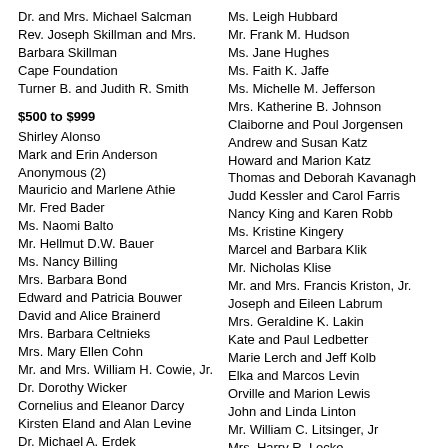Dr. and Mrs. Michael Salcman
Rev. Joseph Skillman and Mrs. Barbara Skillman
Cape Foundation
Turner B. and Judith R. Smith
$500 to $999
Shirley Alonso
Mark and Erin Anderson
Anonymous (2)
Mauricio and Marlene Athie
Mr. Fred Bader
Ms. Naomi Balto
Mr. Hellmut D.W. Bauer
Ms. Nancy Billing
Mrs. Barbara Bond
Edward and Patricia Bouwer
David and Alice Brainerd
Mrs. Barbara Celtnieks
Mrs. Mary Ellen Cohn
Mr. and Mrs. William H. Cowie, Jr.
Dr. Dorothy Wicker
Cornelius and Eleanor Darcy
Kirsten Eland and Alan Levine
Dr. Michael A. Erdek
Dr. Robert and Janet Fleishman
Ms. Leigh Hubbard
Mr. Frank M. Hudson
Ms. Jane Hughes
Ms. Faith K. Jaffe
Ms. Michelle M. Jefferson
Mrs. Katherine B. Johnson
Claiborne and Poul Jorgensen
Andrew and Susan Katz
Howard and Marion Katz
Thomas and Deborah Kavanagh
Judd Kessler and Carol Farris
Nancy King and Karen Robb
Ms. Kristine Kingery
Marcel and Barbara Klik
Mr. Nicholas Klise
Mr. and Mrs. Francis Kriston, Jr.
Joseph and Eileen Labrum
Mrs. Geraldine K. Lakin
Kate and Paul Ledbetter
Marie Lerch and Jeff Kolb
Elka and Marcos Levin
Orville and Marion Lewis
John and Linda Linton
Mr. William C. Litsinger, Jr
Mrs. Harry R. Locke
Ms. Teddi Elaine Lopez
Mrs. Judith A. Lorenz